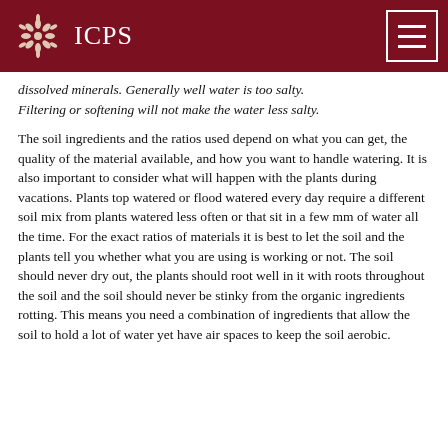ICPS
dissolved minerals. Generally well water is too salty. Filtering or softening will not make the water less salty.
The soil ingredients and the ratios used depend on what you can get, the quality of the material available, and how you want to handle watering. It is also important to consider what will happen with the plants during vacations. Plants top watered or flood watered every day require a different soil mix from plants watered less often or that sit in a few mm of water all the time. For the exact ratios of materials it is best to let the soil and the plants tell you whether what you are using is working or not. The soil should never dry out, the plants should root well in it with roots throughout the soil and the soil should never be stinky from the organic ingredients rotting. This means you need a combination of ingredients that allow the soil to hold a lot of water yet have air spaces to keep the soil aerobic.